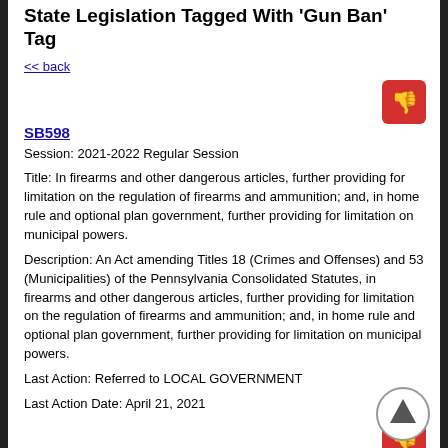State Legislation Tagged With 'Gun Ban' Tag
<< back
SB598
Session: 2021-2022 Regular Session
Title: In firearms and other dangerous articles, further providing for limitation on the regulation of firearms and ammunition; and, in home rule and optional plan government, further providing for limitation on municipal powers.
Description: An Act amending Titles 18 (Crimes and Offenses) and 53 (Municipalities) of the Pennsylvania Consolidated Statutes, in firearms and other dangerous articles, further providing for limitation on the regulation of firearms and ammunition; and, in home rule and optional plan government, further providing for limitation on municipal powers.
Last Action: Referred to LOCAL GOVERNMENT
Last Action Date: April 21, 2021
SB497
Session: 2021-2022 Regular Session
Title: In firearms and other dangerous articles, further providing for the offense of carrying firearms on public streets or public property in Philadelphia.
Description: An Act amending Title 18 (Crimes and Offenses) of the Pennsylvania Consolidated Statutes, in firearms and other dangerous articles, further providing for the offense of carrying firearms on public streets